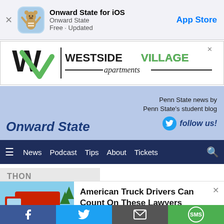[Figure (screenshot): App Store app banner for Onward State iOS app with mascot icon, showing title 'Onward State for iOS', subtitle 'Onward State', 'Free - Updated', and 'App Store' link]
[Figure (logo): Westside Village Apartments advertisement banner with WV logo in black and green]
[Figure (logo): Onward State website header with Penn State Nittany Lion mascot, site logo text 'Onward State', tagline 'Penn State news by Penn State's student blog', and Twitter follow button]
[Figure (screenshot): Navigation bar with hamburger menu, News, Podcast, Tips, About, Tickets, and search icon on dark navy background]
THON
Steps Toward A Greener
[Figure (screenshot): Advertisement overlay: image of red semi truck on left, text 'American Truck Drivers Can Count On These Lawyers', source 'Truck Lawyers | Search Ads | Sponsored', with X close button]
[Figure (screenshot): Social sharing bar at bottom with Facebook (blue), Twitter (light blue), Email (dark gray), SMS (green) buttons]